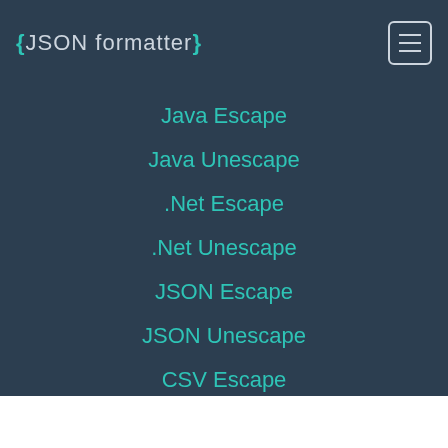{JSON formatter}
Java Escape
Java Unescape
.Net Escape
.Net Unescape
JSON Escape
JSON Unescape
CSV Escape
CSV Unescape